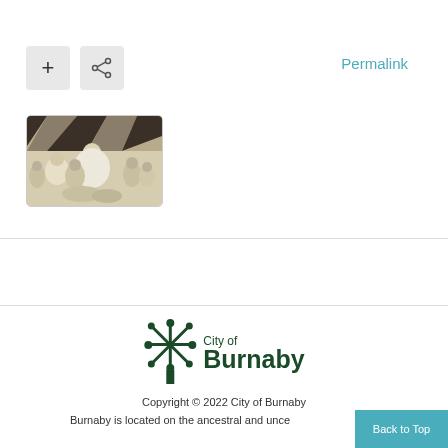Permalink
[Figure (photo): Black and white historical photograph showing a group of women, likely at a civic ceremony or celebration, with decorative bunting in the background.]
[Figure (logo): City of Burnaby logo — dark green snowflake/tree symbol with 'City of Burnaby' text]
Copyright © 2022 City of Burnaby
Burnaby is located on the ancestral and unce